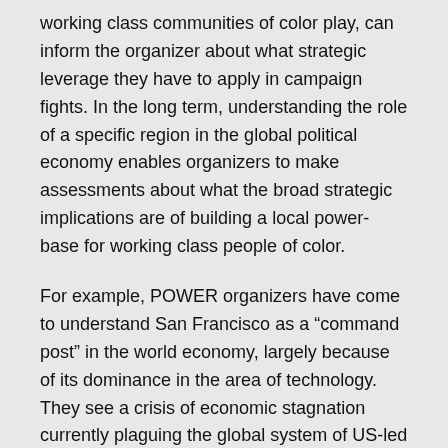working class communities of color play, can inform the organizer about what strategic leverage they have to apply in campaign fights. In the long term, understanding the role of a specific region in the global political economy enables organizers to make assessments about what the broad strategic implications are of building a local power-base for working class people of color.
For example, POWER organizers have come to understand San Francisco as a “command post” in the world economy, largely because of its dominance in the area of technology. They see a crisis of economic stagnation currently plaguing the global system of US-led imperialism, which is also threatening the ruling elite of San Francisco. In response to this crisis SF’s ruling elite has crafted